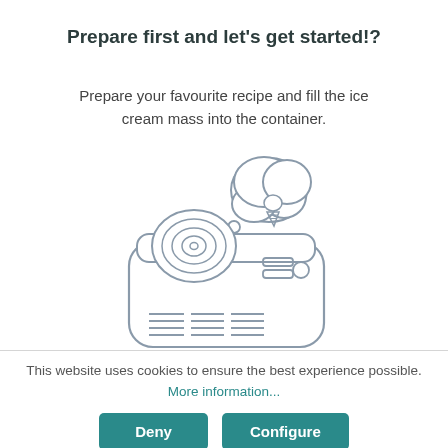Prepare first and let's get started!?
Prepare your favourite recipe and fill the ice cream mass into the container.
[Figure (illustration): Line drawing of an ice cream maker appliance with a thought bubble showing an ice cream cone above it]
This website uses cookies to ensure the best experience possible. More information...
Deny
Configure